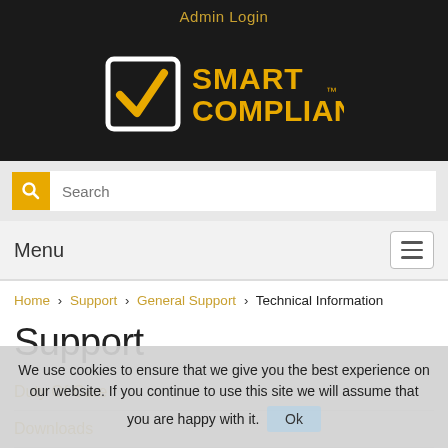Admin Login
[Figure (logo): Smart Compliance logo — white checkbox with gold checkmark and gold 'SMART COMPLIANCE TM' text on dark background]
Search
Menu
Home > Support > General Support > Technical Information
Support
Duty Of Care
Downloads
We use cookies to ensure that we give you the best experience on our website. If you continue to use this site we will assume that you are happy with it.